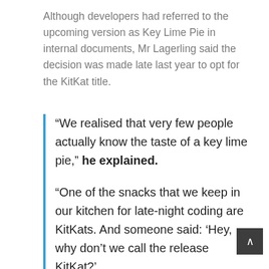Although developers had referred to the upcoming version as Key Lime Pie in internal documents, Mr Lagerling said the decision was made late last year to opt for the KitKat title.
“We realised that very few people actually know the taste of a key lime pie,” he explained.
“One of the snacks that we keep in our kitchen for late-night coding are KitKats. And someone said: ‘Hey, why don’t we call the release KitKat?’
“We didn’t even know which company controlled the name, and we thought that